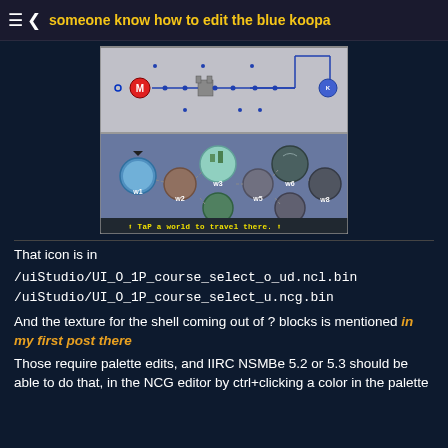someone know how to edit the blue koopa
[Figure (screenshot): A Nintendo DS game screenshot showing a world map selection screen with w1 through w8 world nodes connected by paths, and a blue Koopa at the end. Text at bottom reads 'TaP a world to travel there.']
That icon is in
/uiStudio/UI_O_1P_course_select_o_ud.ncl.bin
/uiStudio/UI_O_1P_course_select_u.ncg.bin
And the texture for the shell coming out of ? blocks is mentioned in my first post there
Those require palette edits, and IIRC NSMBe 5.2 or 5.3 should be able to do that, in the NCG editor by ctrl+clicking a color in the palette